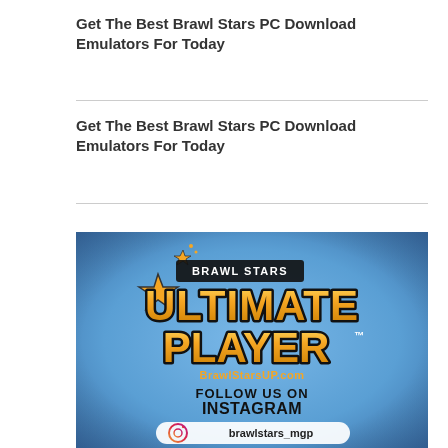Get The Best Brawl Stars PC Download Emulators For Today
Get The Best Brawl Stars PC Download Emulators For Today
[Figure (illustration): Brawl Stars Ultimate Player promotional image with blue gradient background, showing the Brawl Stars logo, 'ULTIMATE PLAYER' text in gold/yellow, BrawlStarsUP.com URL, and 'FOLLOW US ON INSTAGRAM' with brawlstars_mgp handle]